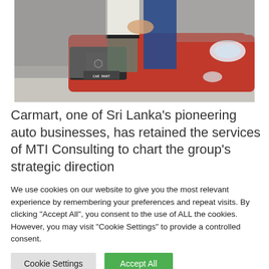[Figure (photo): Two men shaking hands in front of a red Peugeot SUV in a car showroom/dealership.]
Carmart, one of Sri Lanka's pioneering auto businesses, has retained the services of MTI Consulting to chart the group's strategic direction
We use cookies on our website to give you the most relevant experience by remembering your preferences and repeat visits. By clicking "Accept All", you consent to the use of ALL the cookies. However, you may visit "Cookie Settings" to provide a controlled consent.